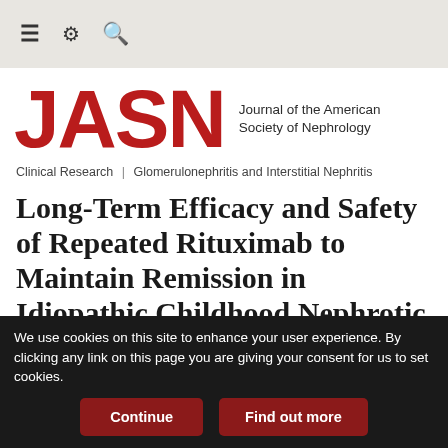≡ ⚙ 🔍
JASN — Journal of the American Society of Nephrology
Clinical Research | Glomerulonephritis and Interstitial Nephritis
Long-Term Efficacy and Safety of Repeated Rituximab to Maintain Remission in Idiopathic Childhood Nephrotic Syndrome: An
We use cookies on this site to enhance your user experience. By clicking any link on this page you are giving your consent for us to set cookies.
Continue   Find out more